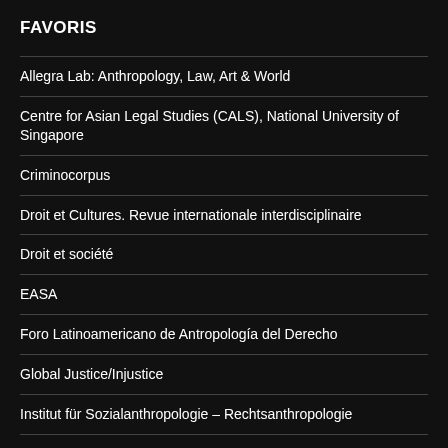FAVORIS
Allegra Lab: Anthropology, Law, Art & World
Centre for Asian Legal Studies (CALS), National University of Singapore
Criminocorpus
Droit et Cultures. Revue internationale interdisciplinaire
Droit et société
EASA
Foro Latinoamericano de Antropología del Derecho
Global Justice/Injustice
Institut für Sozialanthropologie – Rechtsanthropologie
IRENE – Islam-referred normativities
La Escrit. Revista de Cultura juridica…